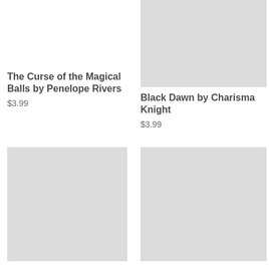The Curse of the Magical Balls by Penelope Rivers
$3.99
[Figure (photo): Book cover placeholder for Black Dawn by Charisma Knight — light gray rectangle]
Black Dawn by Charisma Knight
$3.99
[Figure (photo): Book cover placeholder — light gray rectangle, bottom left]
[Figure (photo): Book cover placeholder — light gray rectangle, bottom right]